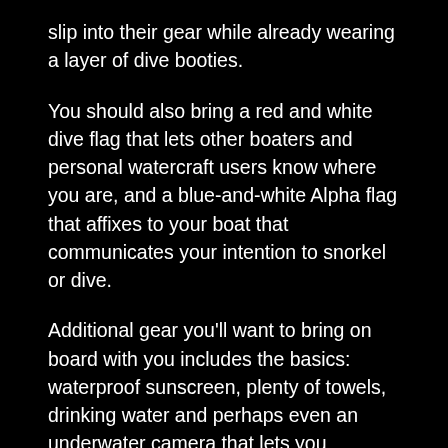slip into their gear while already wearing a layer of dive booties.
You should also bring a red and white dive flag that lets other boaters and personal watercraft users know where you are, and a blue-and-white Alpha flag that affixes to your boat that communicates your intention to snorkel or dive.
Additional gear you’ll want to bring on board with you includes the basics: waterproof sunscreen, plenty of towels, drinking water and perhaps even an underwater camera that lets you document the experience first-hand.
Practice makes perfect
Snorkelers should, of course, know how to swim well